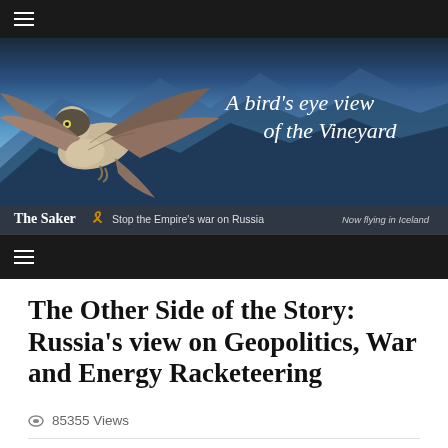[Figure (screenshot): The Saker website header banner showing a falcon/hawk bird with mountain landscape background. Text reads 'A bird's eye view of the Vineyard'. Bottom bar shows 'The Saker', orange ribbon, 'Stop the Empire's war on Russia', 'Now flying in Iceland'.]
The Other Side of the Story: Russia's view on Geopolitics, War and Energy Racketeering
👁 85355 Views
📅 January 21, 2022
💬 32 Comments